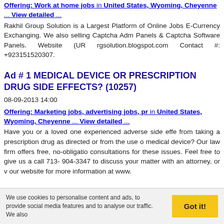Offering: Work at home jobs in United States, Wyoming, Cheyenne ... View detailed ...
Rakhil Group Solution is a Largest Platform of Online Jobs E-Currency Exchanging. We also selling Captcha Adm Panels & Captcha Software Panels. Website (UR rgsolution.blogspot.com Contact #: +923151520307.
Ad # 1 MEDICAL DEVICE OR PRESCRIPTION DRUG SIDE EFFECTS? (10257)
08-09-2013 14:00
Offering: Marketing jobs, advertising jobs, pr in United States, Wyoming, Cheyenne ... View detailed ...
Have you or a loved one experienced adverse side effe from taking a prescription drug as directed or from the use o medical device? Our law firm offers free, no-obligatio consultations for these issues. Feel free to give us a call 713- 904-3347 to discuss your matter with an attorney, or v our website for more information at www.
Solar Energy - Solter Renewable Energy Pvt Ltd
04-09-2013 07:43
We use cookies to personalise content and ads, to provide social media features and to analyse our traffic. We also